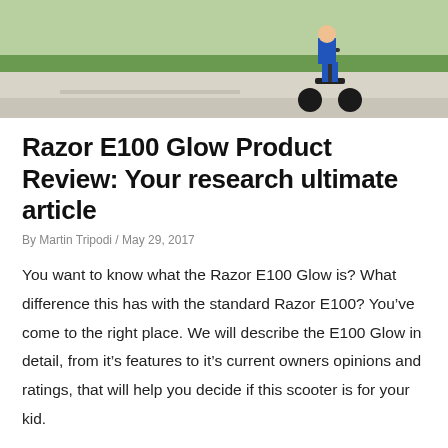[Figure (photo): Photo of a person riding an electric scooter on a sidewalk with green grass in the background]
Razor E100 Glow Product Review: Your research ultimate article
By Martin Tripodi / May 29, 2017
You want to know what the Razor E100 Glow is? What difference this has with the standard Razor E100? You've come to the right place. We will describe the E100 Glow in detail, from it's features to it's current owners opinions and ratings, that will help you decide if this scooter is for your kid.